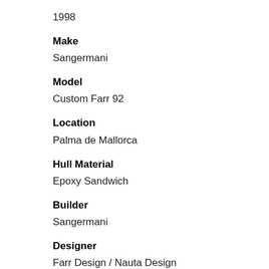1998
Make
Sangermani
Model
Custom Farr 92
Location
Palma de Mallorca
Hull Material
Epoxy Sandwich
Builder
Sangermani
Designer
Farr Design / Nauta Design
LWL